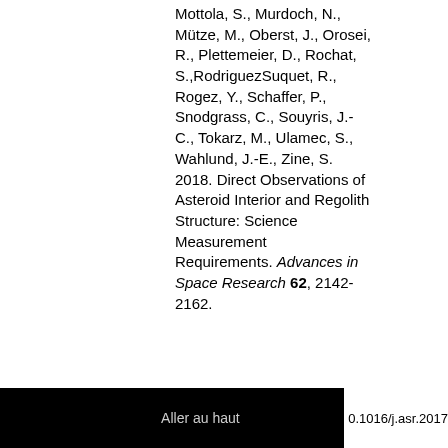Mottola, S., Murdoch, N., Mütze, M., Oberst, J., Orosei, R., Plettemeier, D., Rochat, S.,RodriguezSuquet, R., Rogez, Y., Schaffer, P., Snodgrass, C., Souyris, J.-C., Tokarz, M., Ulamec, S., Wahlund, J.-E., Zine, S. 2018. Direct Observations of Asteroid Interior and Regolith Structure: Science Measurement Requirements. Advances in Space Research 62, 2142-2162.
Aller au haut   0.1016/j.asr.2017